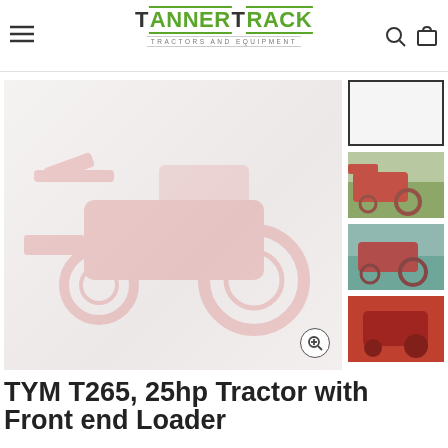TannerTrack Tractors and Equipment
[Figure (photo): Main product photo of TYM T265 25hp tractor with front end loader, shown faded/light against a light background]
[Figure (photo): Thumbnail 1 (selected): blank/white selected thumbnail]
[Figure (photo): Thumbnail 2: TYM tractor with front end loader outdoors on green grass]
[Figure (photo): Thumbnail 3: TYM tractor side view outdoors]
[Figure (photo): Thumbnail 4: Red TYM tractor close-up view]
TYM T265, 25hp Tractor with Front end Loader